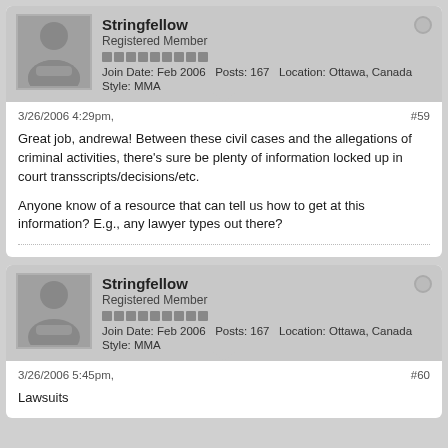[Figure (screenshot): Forum post by user Stringfellow, Registered Member, Join Date: Feb 2006, Posts: 167, Location: Ottawa, Canada, Style: MMA. Post #59 dated 3/26/2006 4:29pm. Text: Great job, andrewa! Between these civil cases and the allegations of criminal activities, there's sure be plenty of information locked up in court transscripts/decisions/etc. Anyone know of a resource that can tell us how to get at this information? E.g., any lawyer types out there?]
[Figure (screenshot): Second forum post by user Stringfellow, same profile info. Post #60 dated 3/26/2006 5:45pm. Text begins: Lawsuits]